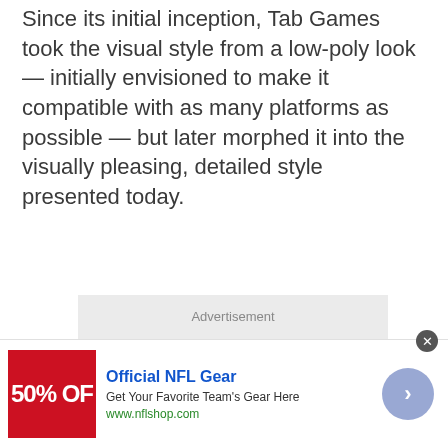Since its initial inception, Tab Games took the visual style from a low-poly look — initially envisioned to make it compatible with as many platforms as possible — but later morphed it into the visually pleasing, detailed style presented today.
[Figure (other): Advertisement placeholder box — light gray rectangle with 'Advertisement' label at top center]
[Figure (other): Bottom banner advertisement for Official NFL Gear. Red image on left showing '50% OFF', ad title 'Official NFL Gear', description 'Get Your Favorite Team's Gear Here', URL 'www.nflshop.com', blue/purple circular arrow button on right, close (X) button at top right.]